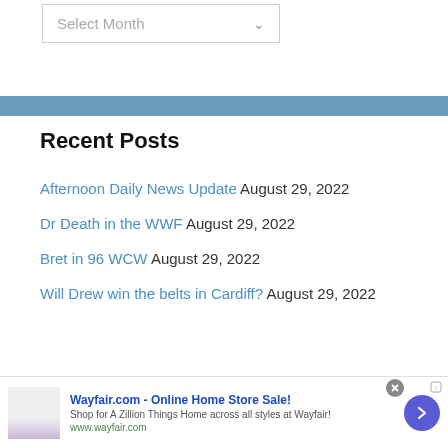Select Month
Recent Posts
Afternoon Daily News Update August 29, 2022
Dr Death in the WWF August 29, 2022
Bret in 96 WCW August 29, 2022
Will Drew win the belts in Cardiff? August 29, 2022
Wayfair.com - Online Home Store Sale! Shop for A Zillion Things Home across all styles at Wayfair! www.wayfair.com